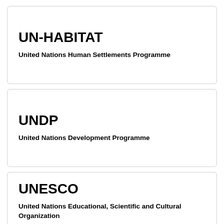UN-HABITAT
United Nations Human Settlements Programme
UNDP
United Nations Development Programme
UNESCO
United Nations Educational, Scientific and Cultural Organization